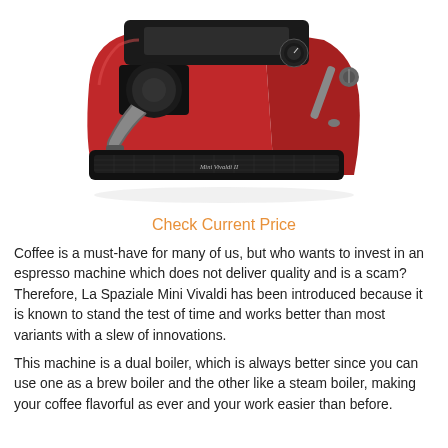[Figure (photo): Red La Spaziale Mini Vivaldi II espresso machine photographed from a front-right angle, showing the machine body, portafilter, drip tray, and steam wand. The machine is red and black.]
Check Current Price
Coffee is a must-have for many of us, but who wants to invest in an espresso machine which does not deliver quality and is a scam? Therefore, La Spaziale Mini Vivaldi has been introduced because it is known to stand the test of time and works better than most variants with a slew of innovations.
This machine is a dual boiler, which is always better since you can use one as a brew boiler and the other like a steam boiler, making your coffee flavorful as ever and your work easier than before.